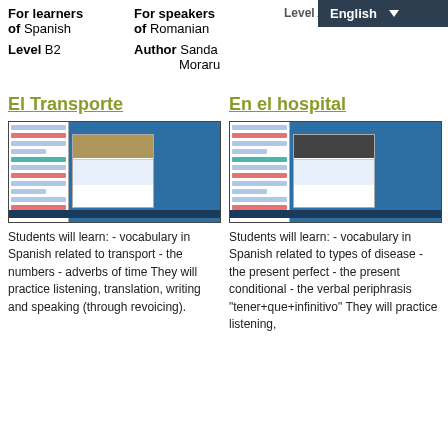For learners of Spanish
For speakers of Romanian
Level A1
Level B2
Author Sanda Moraru
El Transporte
[Figure (screenshot): Screenshot of El Transporte course interface with blue background and sidebar]
Students will learn: - vocabulary in Spanish related to transport - the numbers - adverbs of time They will practice listening, translation, writing and speaking (through revoicing).
En el hospital
[Figure (screenshot): Screenshot of En el hospital course interface with blue background and sidebar]
Students will learn: - vocabulary in Spanish related to types of disease - the present perfect - the present conditional - the verbal periphrasis "tener+que+infinitivo" They will practice listening,